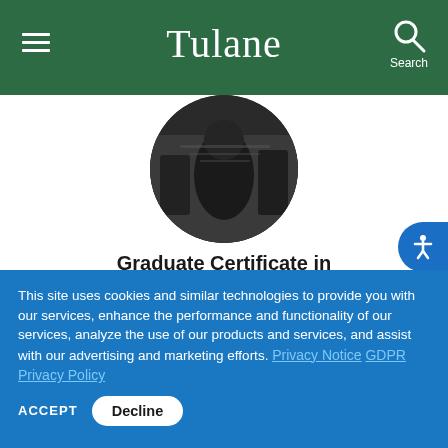Tulane
[Figure (photo): Circular cropped photo of person in dark setting]
Graduate Certificate in Intelligence
[Figure (illustration): Monitor/computer screen icon in gold/yellow color]
[Figure (photo): Partial circular photo of next card item, showing structured architecture]
This site uses cookies and similar technologies to provide you with our services, enhance the performance and functionality of our services, analyze the use of our products and services, and assist with our advertising and marketing efforts. Privacy Notice GDPR Privacy Policy
ACCEPT  Decline